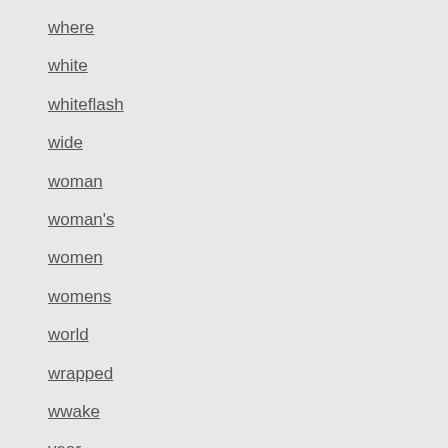where
white
whiteflash
wide
woman
woman's
women
womens
world
wrapped
wwake
year